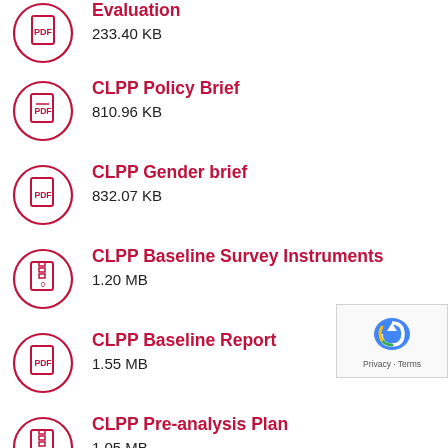Evaluation
233.40 KB
CLPP Policy Brief
810.96 KB
CLPP Gender brief
832.07 KB
CLPP Baseline Survey Instruments
1.20 MB
CLPP Baseline Report
1.55 MB
CLPP Pre-analysis Plan
1.05 MB
CLPP Midline Data Collection Instruments
1.49 MB
CLPP M&E Plan and Instruments